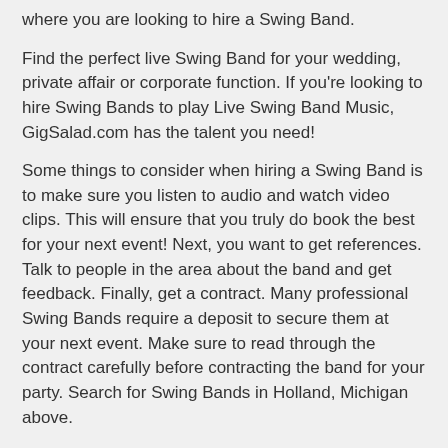where you are looking to hire a Swing Band.
Find the perfect live Swing Band for your wedding, private affair or corporate function. If you're looking to hire Swing Bands to play Live Swing Band Music, GigSalad.com has the talent you need!
Some things to consider when hiring a Swing Band is to make sure you listen to audio and watch video clips. This will ensure that you truly do book the best for your next event! Next, you want to get references. Talk to people in the area about the band and get feedback. Finally, get a contract. Many professional Swing Bands require a deposit to secure them at your next event. Make sure to read through the contract carefully before contracting the band for your party. Search for Swing Bands in Holland, Michigan above.
Please note that these Swing Bands may also travel to Macatawa, Zeeland, West Olive, Hamilton, Saugatuck, Douglas, Fennville, Hudsonville, Jamestown, Burnips, Allendale, Jenison, Lamont, Glenn, Byron Center, Grand Haven, Hopkins, Coopersville,